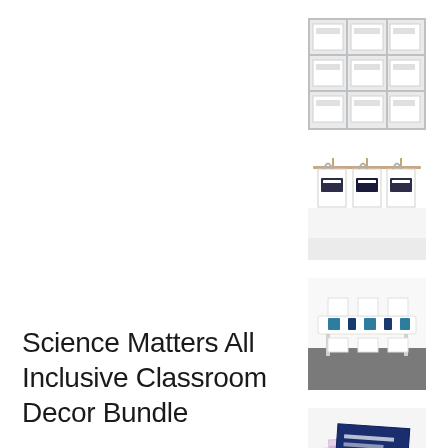[Figure (photo): White cubby shelf unit with labeled storage bins/trays]
[Figure (photo): White tote bags with black and gold classroom labels hanging on a rack]
[Figure (photo): Classroom table setup with teal/navy decor items and chairs]
[Figure (photo): Stacked decorative papers/notebooks in navy, pink, and science-themed patterns]
Science Matters All Inclusive Classroom Decor Bundle